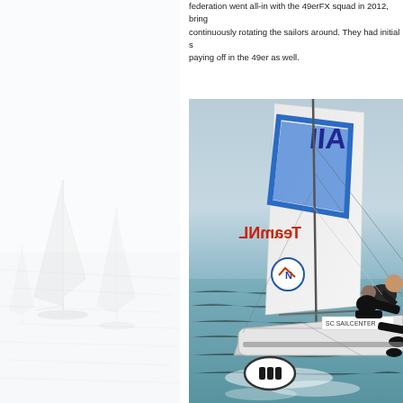[Figure (illustration): Faded background image of sailboats on water, light gray watermark style, occupying the left portion of the page]
federation went all-in with the 49erFX squad in 2012, bringing continuously rotating the sailors around. They had initial s paying off in the 49er as well.
[Figure (photo): Close-up action photo of two sailors on a 49er sailing dinghy heeling over on the water. The sail shows 'ITA' and 'TeamNL' (reversed) in red letters. A blue sail frame structure is visible. The boat hull shows an oval logo with three vertical bars. A 'SC SAILCENTER' sign is visible on the boat.]